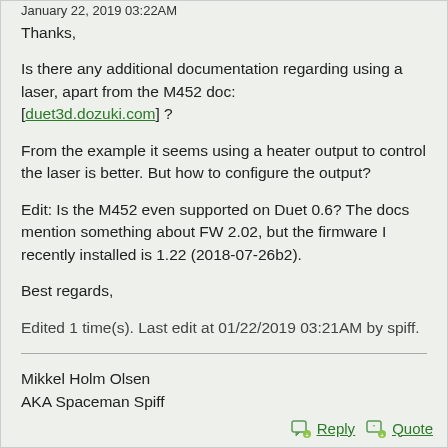January 22, 2019 03:22AM
Thanks,
Is there any additional documentation regarding using a laser, apart from the M452 doc: [duet3d.dozuki.com] ?
From the example it seems using a heater output to control the laser is better. But how to configure the output?
Edit: Is the M452 even supported on Duet 0.6? The docs mention something about FW 2.02, but the firmware I recently installed is 1.22 (2018-07-26b2).
Best regards,
Edited 1 time(s). Last edit at 01/22/2019 03:21AM by spiff.
Mikkel Holm Olsen
AKA Spaceman Spiff